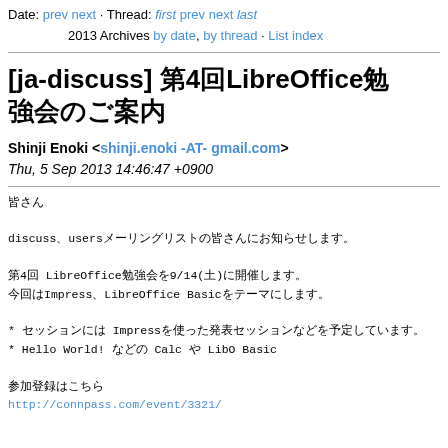Date: prev next · Thread: first prev next last
2013 Archives by date, by thread · List index
[ja-discuss] 第4回LibreOffice勉強会のご案内
Shinji Enoki <shinji.enoki -AT- gmail.com>
Thu, 5 Sep 2013 14:46:47 +0900
皆さん

discuss、usersメーリングリストの皆さんにお知らせします。

第4回 LibreOffice勉強会を9/14(土)に開催します。
今回はImpress、LibreOffice Basicをテーマにします。

* セッションには Impressを使った発表セッションなどを予定しています。
* Hello World! などの Calc や LibO Basic

参加登録はこちら
http://connpass.com/event/3321/